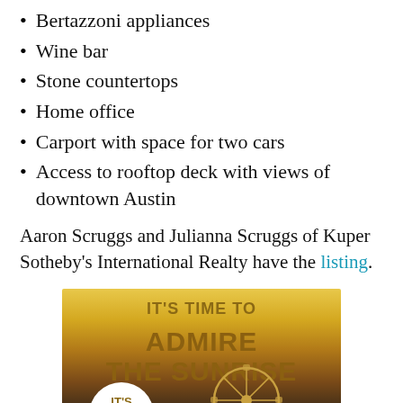Bertazzoni appliances
Wine bar
Stone countertops
Home office
Carport with space for two cars
Access to rooftop deck with views of downtown Austin
Aaron Scruggs and Julianna Scruggs of Kuper Sotheby’s International Realty have the listing.
[Figure (illustration): Advertisement image with golden sunrise background, ferris wheel, and text reading IT’S TIME TO ADMIRE THE SUNRISE with IT’S ISLAND badge at bottom left]